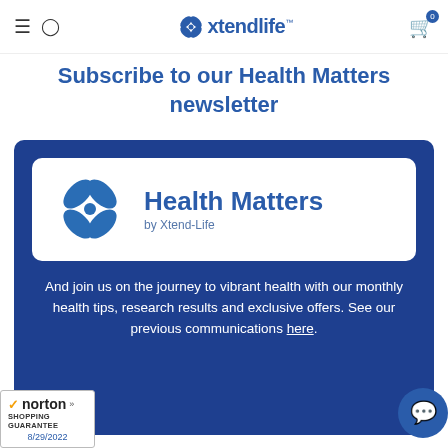Xtendlife — navigation bar with hamburger, user icon, logo, and cart (0)
Subscribe to our Health Matters newsletter
[Figure (logo): Health Matters by Xtend-Life newsletter logo — blue four-petal flower icon with 'Health Matters' in bold blue and 'by Xtend-Life' subtitle on white background card inside a dark blue rounded rectangle card]
And join us on the journey to vibrant health with our monthly health tips, research results and exclusive offers. See our previous communications here.
[Figure (logo): Norton Shopping Guarantee badge with checkmark, date 8/29/2022]
[Figure (other): Blue circular chat/support button in bottom right corner]